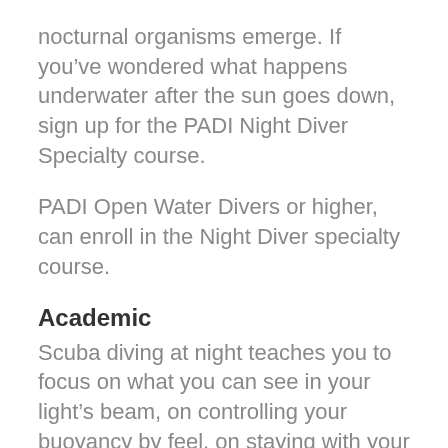nocturnal organisms emerge. If you've wondered what happens underwater after the sun goes down, sign up for the PADI Night Diver Specialty course.
PADI Open Water Divers or higher, can enroll in the Night Diver specialty course.
Academic
Scuba diving at night teaches you to focus on what you can see in your light's beam, on controlling your buoyancy by feel, on staying with your buddy and on paying attention to details you may overlook during the day. During three night dives, you'll practice: